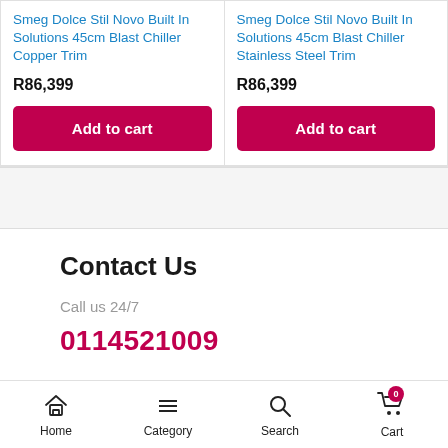Smeg Dolce Stil Novo Built In Solutions 45cm Blast Chiller Copper Trim
R86,399
Smeg Dolce Stil Novo Built In Solutions 45cm Blast Chiller Stainless Steel Trim
R86,399
Contact Us
Call us 24/7
0114521009
Home   Category   Search   Cart